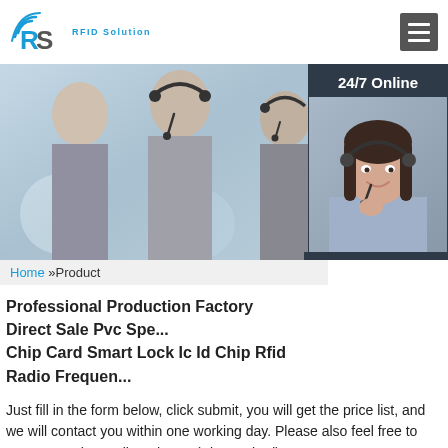[Figure (logo): RS RFID Solution logo with signal icon]
[Figure (photo): Banner showing customer support agents wearing headsets in an office environment]
[Figure (photo): 24/7 Online chat widget with female agent wearing headset, and QUOTATION button]
Home »Product
Professional Production Factory Direct Sale Pvc Spe... Chip Card Smart Lock Ic Id Chip Rfid Radio Frequen...
Just fill in the form below, click submit, you will get the price list, and we will contact you within one working day. Please also feel free to contact us via email or phone. (* is required).
Name: